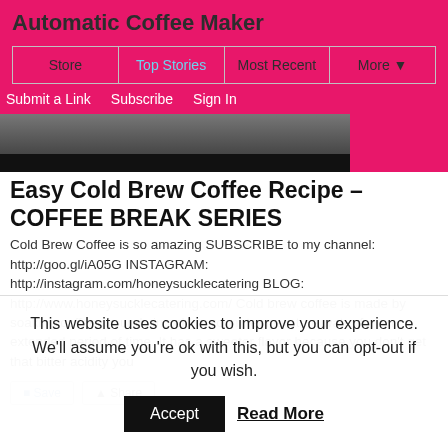Automatic Coffee Maker
Store | Top Stories | Most Recent | More
Submit a Link  Subscribe  Sign In
[Figure (photo): Partial image of coffee, dark strip at bottom]
Easy Cold Brew Coffee Recipe – COFFEE BREAK SERIES
Cold Brew Coffee is so amazing SUBSCRIBE to my channel: http://goo.gl/iA05G INSTAGRAM: http://instagram.com/honeysucklecatering BLOG: http://www.honeysucklecatering.com/ Cold brew coffee is made by soaking coffee grounds in cold or room temperature water for an extended period of time. It has a sweeter flavor because you don't get that bitter acidity you
Save  Share
This website uses cookies to improve your experience. We'll assume you're ok with this, but you can opt-out if you wish.
Accept  Read More